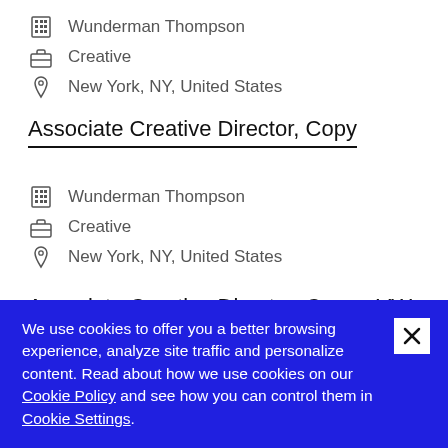Wunderman Thompson
Creative
New York, NY, United States
Associate Creative Director, Copy
Wunderman Thompson
Creative
New York, NY, United States
Associate Creative Director, Copy - VW
We use cookies to offer you a better browsing experience, analyze site traffic and personalize content. Read about how we use cookies on our Cookie Policy and see how you can control them in Cookie Settings.